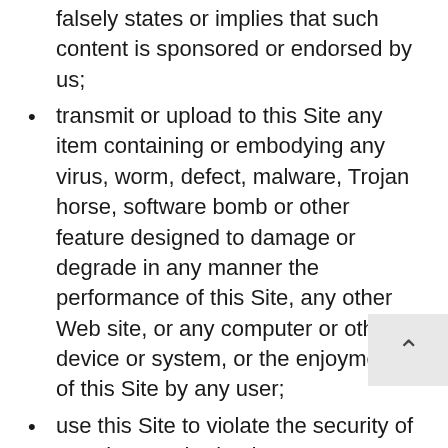falsely states or implies that such content is sponsored or endorsed by us;
transmit or upload to this Site any item containing or embodying any virus, worm, defect, malware, Trojan horse, software bomb or other feature designed to damage or degrade in any manner the performance of this Site, any other Web site, or any computer or other device or system, or the enjoyment of this Site by any user;
use this Site to violate the security of or gain unauthorized access to any computer or computer network or other device or system (including unauthorized attempts to discover passwords or security encryption codes);
submit to this Site any content that is